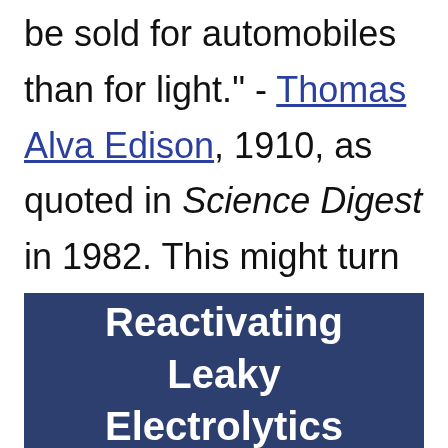be sold for automobiles than for light." - Thomas Alva Edison, 1910, as quoted in Science Digest in 1982. This might turn out to be correct after all, fifteen years from now.
Reactivating Leaky Electrolytics